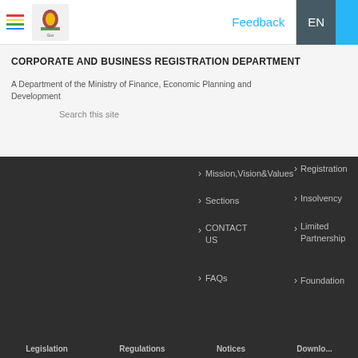CORPORATE AND BUSINESS REGISTRATION DEPARTMENT
A Department of the Ministry of Finance, Economic Planning and Development
Search this site
Mission, Vision & Values
Sections
CONTACT US
FAQs
Registration
Insolvency
Limited Partnership
Foundation
Legislation    Regulations    Notices    Downlo...